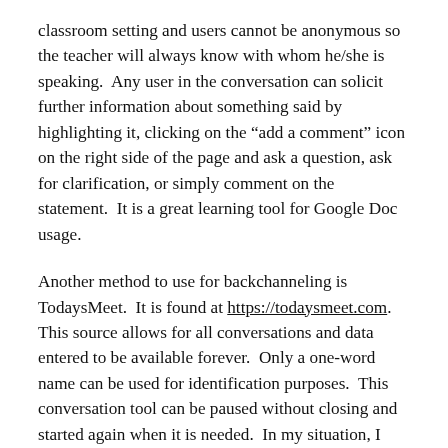classroom setting and users cannot be anonymous so the teacher will always know with whom he/she is speaking.  Any user in the conversation can solicit further information about something said by highlighting it, clicking on the “add a comment” icon on the right side of the page and ask a question, ask for clarification, or simply comment on the statement.  It is a great learning tool for Google Doc usage.
Another method to use for backchanneling is TodaysMeet.  It is found at https://todaysmeet.com.  This source allows for all conversations and data entered to be available forever.  Only a one-word name can be used for identification purposes.  This conversation tool can be paused without closing and started again when it is needed.  In my situation, I would limit the conversation rooms to the students and faculty at my school.  I can use student and/or faculty email addresses for participation